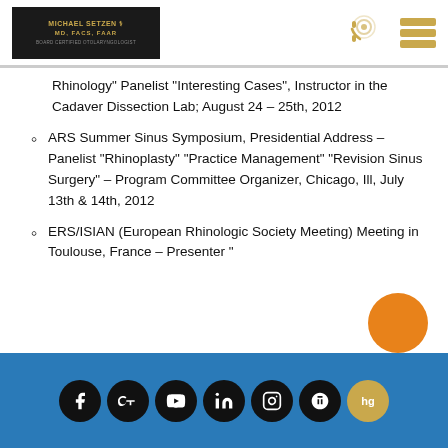Michael Setzen MD, FACS, FAAR
Rhinology" Panelist "Interesting Cases", Instructor in the Cadaver Dissection Lab; August 24 – 25th, 2012
ARS Summer Sinus Symposium, Presidential Address – Panelist "Rhinoplasty" "Practice Management" "Revision Sinus Surgery" – Program Committee Organizer, Chicago, Ill, July 13th & 14th, 2012
ERS/ISIAN (European Rhinologic Society Meeting) Meeting in Toulouse, France – Presenter "…
Social media icons: Facebook, Google+, YouTube, LinkedIn, Instagram, Yelp, hg